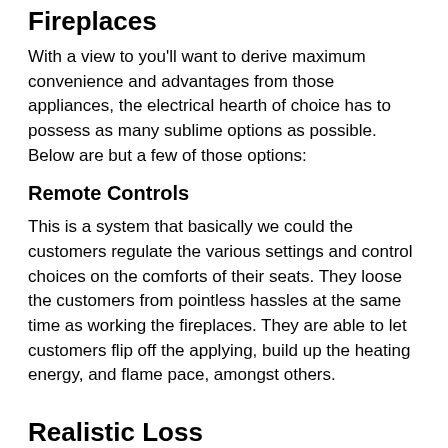Fireplaces
With a view to you'll want to derive maximum convenience and advantages from those appliances, the electrical hearth of choice has to possess as many sublime options as possible. Below are but a few of those options:
Remote Controls
This is a system that basically we could the customers regulate the various settings and control choices on the comforts of their seats. They loose the customers from pointless hassles at the same time as working the fireplaces. They are able to let customers flip off the applying, build up the heating energy, and flame pace, amongst others.
Realistic Loss